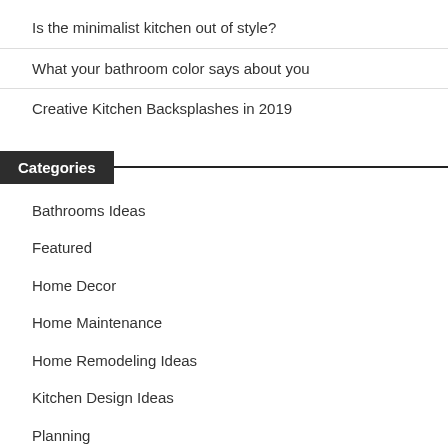Is the minimalist kitchen out of style?
What your bathroom color says about you
Creative Kitchen Backsplashes in 2019
Categories
Bathrooms Ideas
Featured
Home Decor
Home Maintenance
Home Remodeling Ideas
Kitchen Design Ideas
Planning